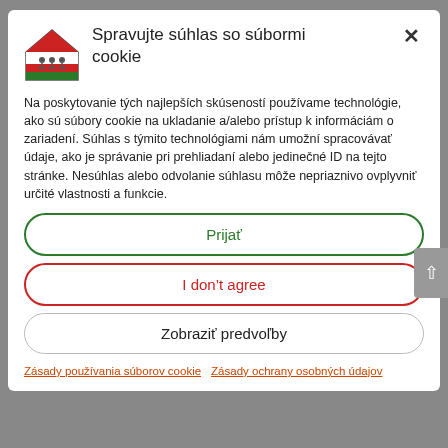[Figure (logo): House-shaped logo with figures and colored stripes]
Spravujte súhlas so súbormi cookie
Na poskytovanie tých najlepších skúseností používame technológie, ako sú súbory cookie na ukladanie a/alebo prístup k informáciám o zariadení. Súhlas s týmito technológiami nám umožní spracovávať údaje, ako je správanie pri prehliadaní alebo jedinečné ID na tejto stránke. Nesúhlas alebo odvolanie súhlasu môže nepriaznivo ovplyvniť určité vlastnosti a funkcie.
Prijať
I don't agree
Zobraziť predvoľby
Zásady používania súborov cookie   Zásady ochrany osobných údajov